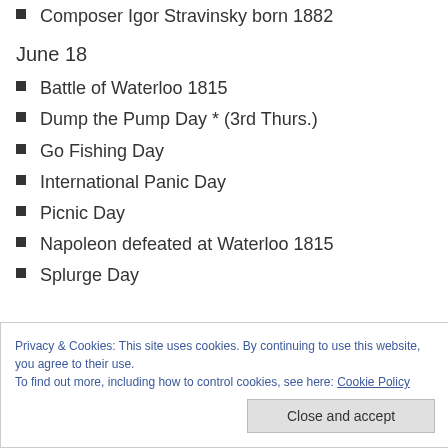Composer Igor Stravinsky born 1882
June 18
Battle of Waterloo 1815
Dump the Pump Day * (3rd Thurs.)
Go Fishing Day
International Panic Day
Picnic Day
Napoleon defeated at Waterloo 1815
Splurge Day
Privacy & Cookies: This site uses cookies. By continuing to use this website, you agree to their use. To find out more, including how to control cookies, see here: Cookie Policy